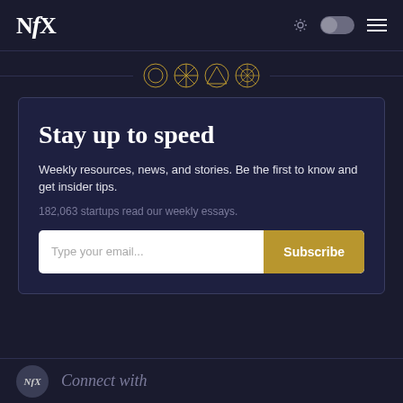NFX
[Figure (logo): NFX logo with stylized italic N, f, X characters in white on dark navy background]
[Figure (illustration): Four circular geometric icons in a row with horizontal lines extending on both sides: circle with inscribed circle, circle with X pattern, circle with triangle, circle with complex geometric pattern (all in gold/tan outline)]
Stay up to speed
Weekly resources, news, and stories. Be the first to know and get insider tips.
182,063 startups read our weekly essays.
Type your email...
Subscribe
Connect with